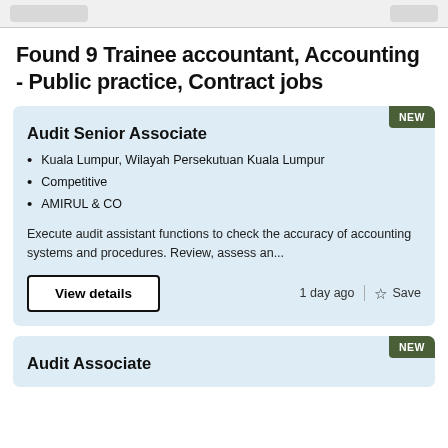Found 9 Trainee accountant, Accounting - Public practice, Contract jobs
Audit Senior Associate
Kuala Lumpur, Wilayah Persekutuan Kuala Lumpur
Competitive
AMIRUL & CO
Execute audit assistant functions to check the accuracy of accounting systems and procedures. Review, assess an...
1 day ago
Audit Associate